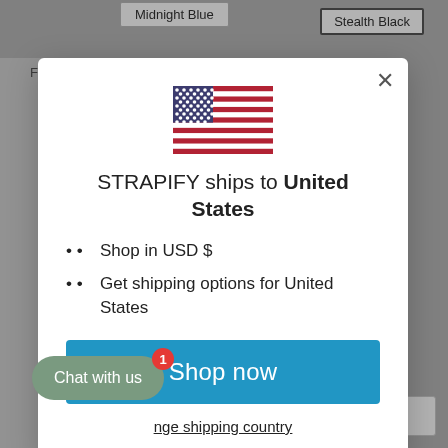[Figure (screenshot): Background e-commerce product page with 'Midnight Blue' and 'Stealth Black' color selector buttons visible]
[Figure (illustration): US flag emoji/icon centered in modal]
STRAPIFY ships to United States
Shop in USD $
Get shipping options for United States
Shop now
Change shipping country
Chat with us